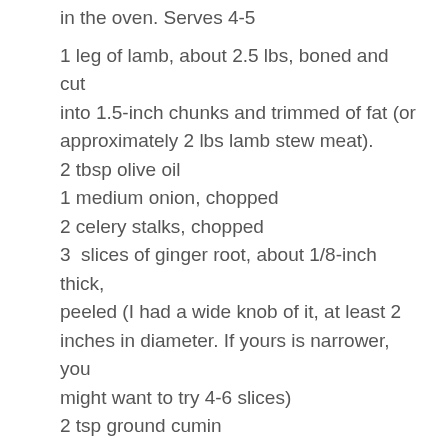in the oven. Serves 4-5
1 leg of lamb, about 2.5 lbs, boned and cut into 1.5-inch chunks and trimmed of fat (or approximately 2 lbs lamb stew meat).
2 tbsp olive oil
1 medium onion, chopped
2 celery stalks, chopped
3  slices of ginger root, about 1/8-inch thick, peeled (I had a wide knob of it, at least 2 inches in diameter. If yours is narrower, you might want to try 4-6 slices)
2 tsp ground cumin
1/2 tsp ground cinnamon
3 cloves garlic, chopped
3/4 c white wine (I had an open bottle of